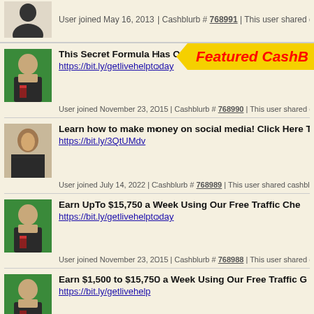User joined May 16, 2013 | Cashblurb # 768991 | This user shared cashblurb
[Figure (illustration): Featured CashBlurb banner in yellow with red bold italic text]
This Secret Formula Has Our Members Making Money W
https://bit.ly/getlivehelptoday
User joined November 23, 2015 | Cashblurb # 768990 | This user shared cash
Learn how to make money on social media! Click Here T
https://bit.ly/3QtUMdv
User joined July 14, 2022 | Cashblurb # 768989 | This user shared cashblurb #
Earn UpTo $15,750 a Week Using Our Free Traffic Che
https://bit.ly/getlivehelptoday
User joined November 23, 2015 | Cashblurb # 768988 | This user shared cash
Earn $1,500 to $15,750 a Week Using Our Free Traffic G
https://bit.ly/getlivehelp
User joined November 23, 2015 | Cashblurb # 768987 | This user shared cash
Learn how to make money on social media! Click Here T